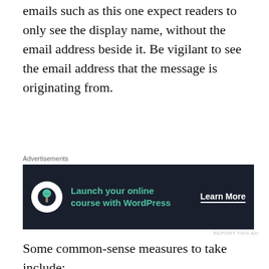emails such as this one expect readers to only see the display name, without the email address beside it. Be vigilant to see the email address that the message is originating from.
[Figure (other): Advertisement banner for 'Launch your online course with WordPress' with a Learn More button on dark navy background.]
Some common-sense measures to take include:
Check the sender's email address. Are they who they claim to be? Check that their contact name matches the actual email address they're sending from.
Try not to click or tap! If it's a link and you're on a computer, take advantage of your mouse's hover to